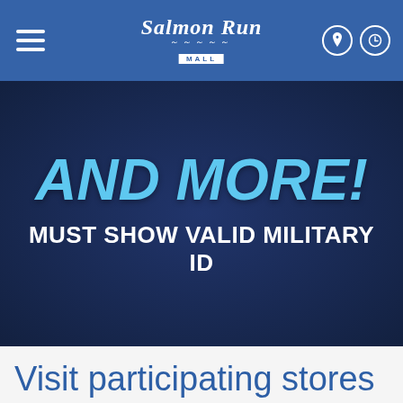Salmon Run Mall navigation header
[Figure (illustration): Dark blue banner with cyan bold italic text 'AND MORE!' and white bold text 'MUST SHOW VALID MILITARY ID']
Visit participating stores on Sunday, May 23rd during mall hours, show your valid military ID, and save!